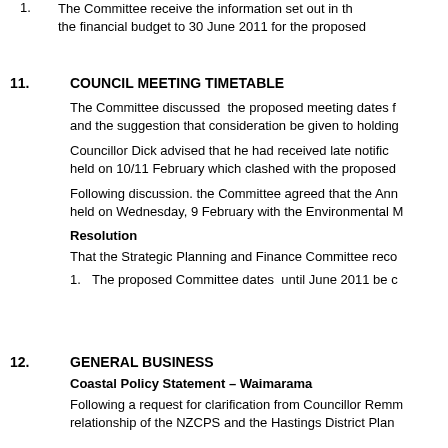1.    The Committee receive the information set out in the financial budget to 30 June 2011 for the proposed
11.    COUNCIL MEETING TIMETABLE
The Committee discussed  the proposed meeting dates and the suggestion that consideration be given to holding
Councillor Dick advised that he had received late notification held on 10/11 February which clashed with the proposed
Following discussion. the Committee agreed that the Annual held on Wednesday, 9 February with the Environmental M
Resolution
That the Strategic Planning and Finance Committee recommended
1.    The proposed Committee dates  until June 2011 be c
12.    GENERAL BUSINESS
Coastal Policy Statement – Waimarama
Following a request for clarification from Councillor Remm relationship of the NZCPS and the Hastings District Plan